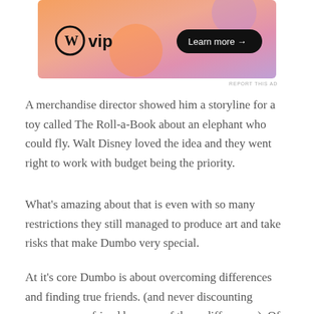[Figure (other): WordPress VIP advertisement banner with gradient orange-pink-purple background, WordPress logo, 'vip' text, and 'Learn more →' button]
REPORT THIS AD
A merchandise director showed him a storyline for a toy called The Roll-a-Book about an elephant who could fly. Walt Disney loved the idea and they went right to work with budget being the priority.
What's amazing about that is even with so many restrictions they still managed to produce art and take risks that make Dumbo very special.
At it's core Dumbo is about overcoming differences and finding true friends.  (and never discounting someone as a friend because of those differences).  Of all the Disney